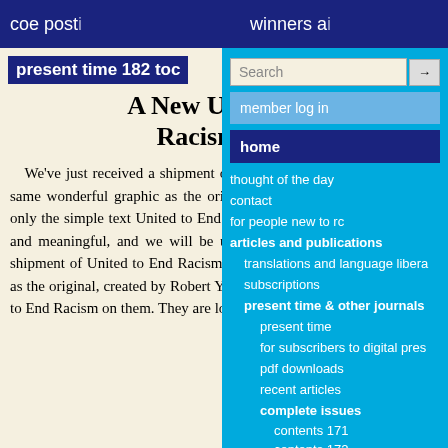coe post   winners a
present time 182 toc
A New United to End Racism T-Shirt!
We've just received a shipment of United to End Racism t-shirts--with the same wonderful graphic as the original, created by Robert Young, but with only the simple text United to End Racism on them. They are lovely, artistic, and meaningful, and we will be using them for ma We've just received a shipment of United to End Racism t-shirts--with the same wonderful graphic as the original, created by Robert Young, but with only the simple text United to End Racism on them. They are lovely, artistic, and
Search
member log in
home
thought of the day
contact
for people new to rc
articles and publications
translations and language libera
subscriptions
present time & other journals
present time
for subscribers to digital pres
pdf downloads
recent articles
complete issues
contents 171
contents 172
contents 173